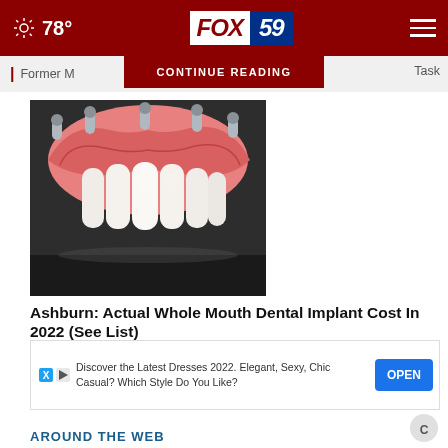78° FOX 59
CONTINUE READING
Former M... Task
[Figure (photo): Dental implant prosthesis showing a full arch of white teeth with pink gum-colored acrylic and metal screw posts visible at the top, photographed against a dark background.]
Ashburn: Actual Whole Mouth Dental Implant Cost In 2022 (See List)
Ad by Find out more
Discover the Latest Dresses 2022. Elegant, Sexy, Chic Casual? Which Style Do You Like?
OPEN
AROUND THE WEB